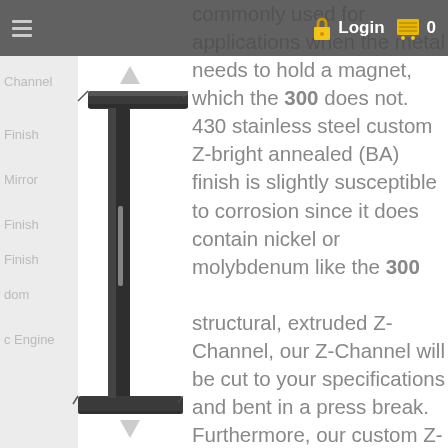Login  0
commonly used for applications when the metal needs to hold a magnet, which the 300 does not. 430 stainless steel custom Z- bright annealed (BA) finish is slightly susceptible to corrosion since it does contain nickel or molybdenum like the 300
[Figure (photo): 3D rendered dark gray Z-channel extrusion shown in angled perspective view with up/down arrows indicating scroll]
structural, extruded Z-Channel, our Z-Channel will be cut to your specifications and bent in a press break. Furthermore, our custom Z-Channel will give customers more variety of fabrication options,